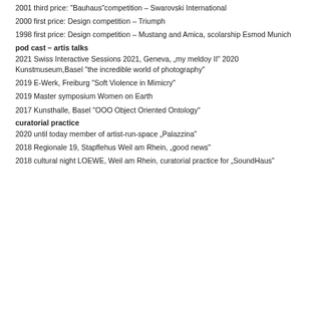2001 third price: “Bauhaus”competition – Swarovski International
2000 first price: Design competition – Triumph
1998 first price: Design competition – Mustang and Amica, scolarship Esmod Munich
pod cast – artis talks
2021 Swiss Interactive Sessions 2021, Geneva, „my meldoy II“ 2020 Kunstmuseum,Basel “the incredible world of photography”
2019 E-Werk, Freiburg “Soft Violence in Mimicry”
2019 Master symposium Women on Earth
2017 Kunsthalle, Basel “OOO Object Oriented Ontology”
curatorial practice
2020 until today member of artist-run-space „Palazzina“
2018 Regionale 19, Stapflehus Weil am Rhein, „good news“
2018 cultural night LOEWE, Weil am Rhein, curatorial practice for „SoundHaus“